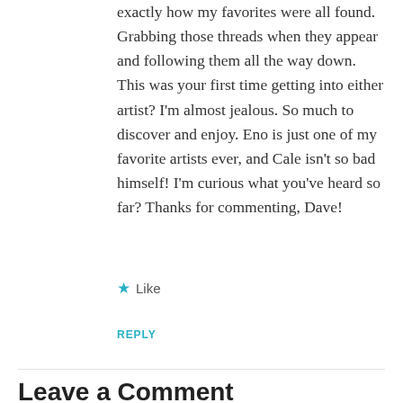exactly how my favorites were all found. Grabbing those threads when they appear and following them all the way down. This was your first time getting into either artist? I'm almost jealous. So much to discover and enjoy. Eno is just one of my favorite artists ever, and Cale isn't so bad himself! I'm curious what you've heard so far? Thanks for commenting, Dave!
Like
REPLY
Leave a Comment